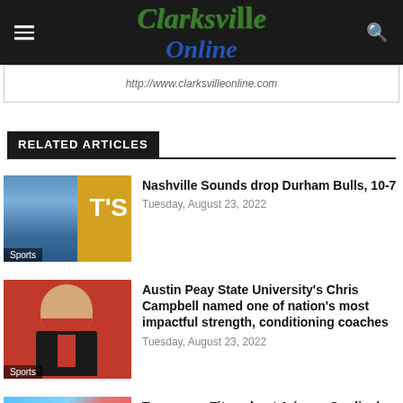Clarksville Online
http://www.clarksvilleonline.com
RELATED ARTICLES
[Figure (photo): Baseball player in outfield with yellow wall, Sports category label]
Nashville Sounds drop Durham Bulls, 10-7
Tuesday, August 23, 2022
[Figure (photo): Headshot of Chris Campbell in suit with red tie against red background, Sports category label]
Austin Peay State University's Chris Campbell named one of nation's most impactful strength, conditioning coaches
Tuesday, August 23, 2022
[Figure (photo): Football action shot, Tennessee Titans vs Arizona Cardinals]
Tennessee Titans host Arizona Cardinals to finish Preseason, Saturday